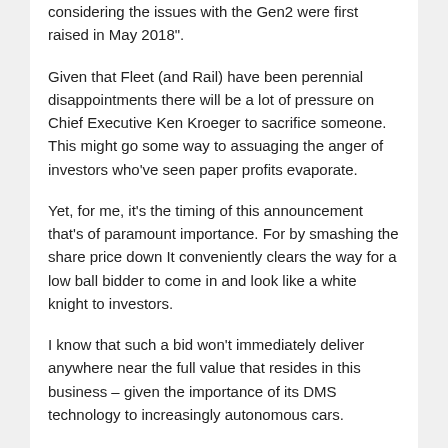considering the issues with the Gen2 were first raised in May 2018".
Given that Fleet (and Rail) have been perennial disappointments there will be a lot of pressure on Chief Executive Ken Kroeger to sacrifice someone. This might go some way to assuaging the anger of investors who've seen paper profits evaporate.
Yet, for me, it's the timing of this announcement that's of paramount importance. For by smashing the share price down It conveniently clears the way for a low ball bidder to come in and look like a white knight to investors.
I know that such a bid won't immediately deliver anywhere near the full value that resides in this business – given the importance of its DMS technology to increasingly autonomous cars.
Still, many long-suffering shareholders would probably jump at the opportunity to sell at a very decent profit. Moreover, it ought to ignite a bidding war.